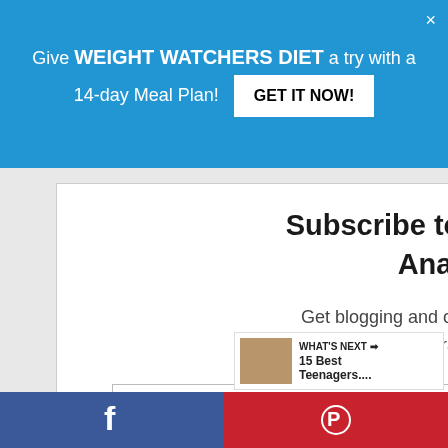Give WEIGHT WATCHERS DIET a try with a 14-day Meal Plan! GET IT NOW!
Subscribe to Updates from Anastasia!
Get blogging and online business tips from Anastasia straight to your inbox.
First Name
Your Email...
SUBSCRIBE
11
WHAT'S NEXT → 15 Best Teenagers....
f   P